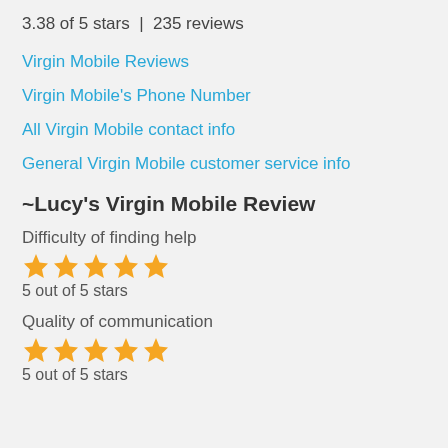3.38 of 5 stars  |  235 reviews
Virgin Mobile Reviews
Virgin Mobile's Phone Number
All Virgin Mobile contact info
General Virgin Mobile customer service info
~Lucy's Virgin Mobile Review
Difficulty of finding help
[Figure (other): 5 orange stars rating]
5 out of 5 stars
Quality of communication
[Figure (other): 5 orange stars rating]
5 out of 5 stars